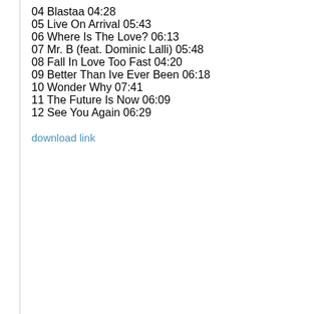04 Blastaa 04:28
05 Live On Arrival 05:43
06 Where Is The Love? 06:13
07 Mr. B (feat. Dominic Lalli) 05:48
08 Fall In Love Too Fast 04:20
09 Better Than Ive Ever Been 06:18
10 Wonder Why 07:41
11 The Future Is Now 06:09
12 See You Again 06:29
download link